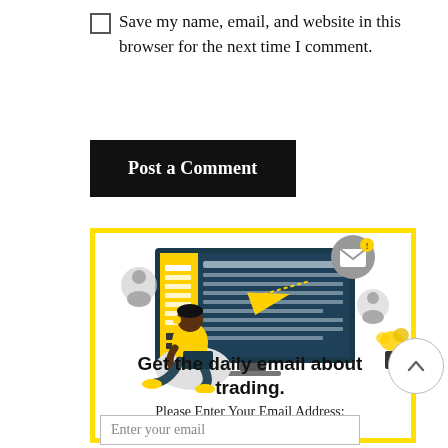Save my name, email, and website in this browser for the next time I comment.
Post a Comment
[Figure (illustration): Illustration of a person sitting on a bean bag with a laptop, sending emails, with a large monitor showing an email interface in the background, notification icons, and a plant.]
Get the daily email about trading.
Please Enter Your Email Address:
Enter your email